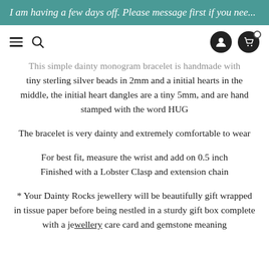I am having a few days off. Please message first if you nee...
This simple dainty monogram bracelet is handmade with tiny sterling silver beads in 2mm and a initial hearts in the middle, the initial heart dangles are a tiny 5mm, and are hand stamped with the word HUG
The bracelet is very dainty and extremely comfortable to wear
For best fit, measure the wrist and add on 0.5 inch
Finished with a Lobster Clasp and extension chain
* Your Dainty Rocks jewellery will be beautifully gift wrapped in tissue paper before being nestled in a sturdy gift box complete with a jewellery care card and gemstone meaning